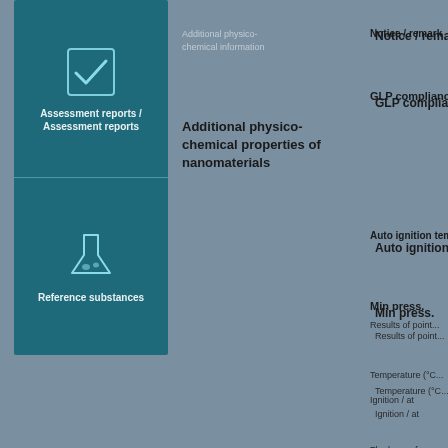[Figure (illustration): Teal box with two sections: top section has a checkmark icon with label 'Assessment reports / Assessment reports', bottom section has a flask/beaker icon with label 'Reference substances']
Additional physico-chemical information
Additional physico-chemical properties of nanomaterials
Notice / remark
GLP compliance
Auto ignition temperature
Min press.
Results of associated...
Temperature (°C)
Ignition / at
The reason for...
Melt heat content...
According to stu... / Awareness of #1(...)
Main heat content...
0.
0.